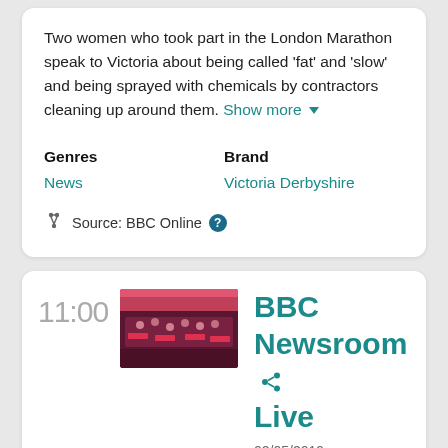Two women who took part in the London Marathon speak to Victoria about being called 'fat' and 'slow' and being sprayed with chemicals by contractors cleaning up around them. Show more ▾
Genres: News | Brand: Victoria Derbyshire
Source: BBC Online
11:00
[Figure (photo): Thumbnail image of BBC Newsroom Live showing a newsroom aerial view with red and dark decor]
BBC Newsroom Live
02/05/2019